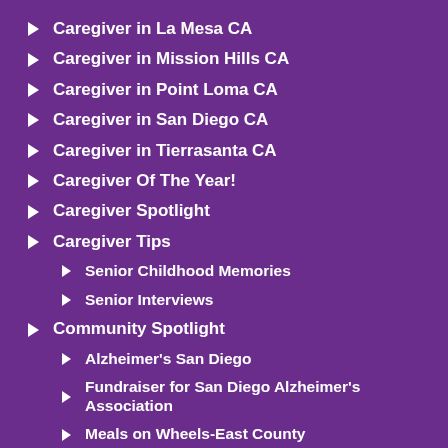Caregiver in La Mesa CA
Caregiver in Mission Hills CA
Caregiver in Point Loma CA
Caregiver in San Diego CA
Caregiver in Tierrasanta CA
Caregiver Of The Year!
Caregiver Spotlight
Caregiver Tips
Senior Childhood Memories
Senior Interviews
Community Spotlight
Alzheimer's San Diego
Fundraiser for San Diego Alzheimer's Association
Meals on Wheels-East County